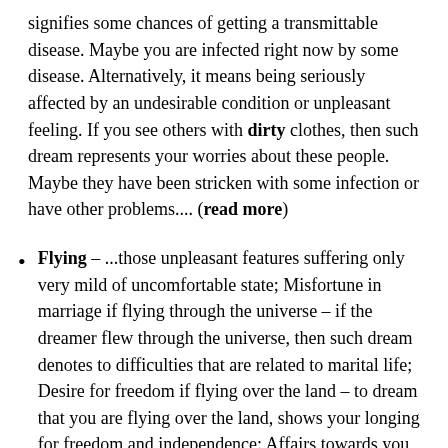signifies some chances of getting a transmittable disease. Maybe you are infected right now by some disease. Alternatively, it means being seriously affected by an undesirable condition or unpleasant feeling. If you see others with dirty clothes, then such dream represents your worries about these people. Maybe they have been stricken with some infection or have other problems.... (read more)
Flying – ...those unpleasant features suffering only very mild of uncomfortable state; Misfortune in marriage if flying through the universe – if the dreamer flew through the universe, then such dream denotes to difficulties that are related to marital life; Desire for freedom if flying over the land – to dream that you are flying over the land, shows your longing for freedom and independence; Affairs towards you if flying over dirty water – to dream that you are flying over